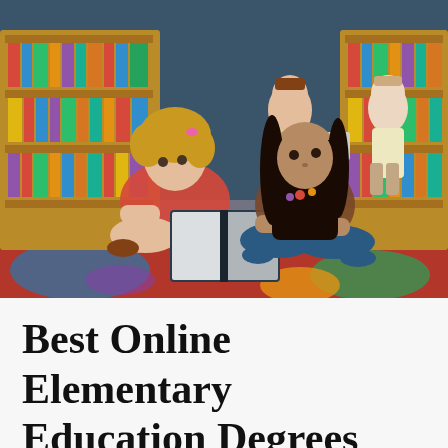[Figure (photo): Two young girls sitting cross-legged on a colorful classroom rug, reading a book together. Behind them are wooden bookshelves filled with colorful books. In the background, two more children are visible near the shelves. The girl on the left has curly blonde hair and wears a red top; the girl on the right has long dark hair and wears a brown top. They are in a school library or classroom setting.]
Best Online Elementary Education Degrees